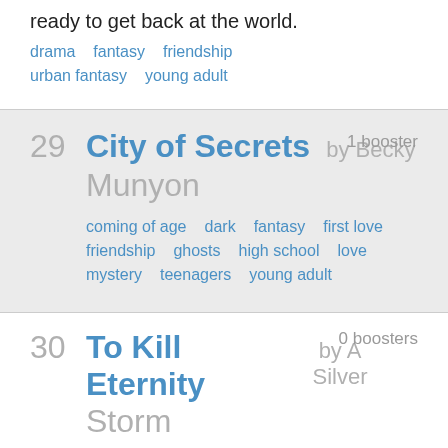ready to get back at the world.
drama   fantasy   friendship
urban fantasy   young adult
29  City of Secrets by Becky Munyon  1 booster
coming of age   dark   fantasy   first love
friendship   ghosts   high school   love
mystery   teenagers   young adult
30  To Kill Eternity by A Silver Storm  0 boosters